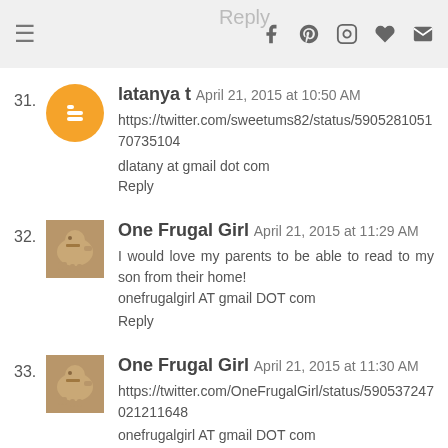Reply | [navigation icons: menu, facebook, pinterest, instagram, heart, email]
31. latanya t April 21, 2015 at 10:50 AM
https://twitter.com/sweetums82/status/590528105170735104
dlatany at gmail dot com
Reply
32. One Frugal Girl April 21, 2015 at 11:29 AM
I would love my parents to be able to read to my son from their home!
onefrugalgirl AT gmail DOT com
Reply
33. One Frugal Girl April 21, 2015 at 11:30 AM
https://twitter.com/OneFrugalGirl/status/590537247021211648
onefrugalgirl AT gmail DOT com